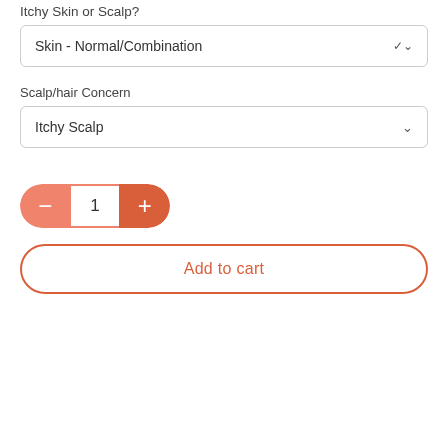Itchy Skin or Scalp?
[Figure (screenshot): Dropdown selector showing 'Skin - Normal/Combination' with chevron]
Scalp/hair Concern
[Figure (screenshot): Dropdown selector showing 'Itchy Scalp' with chevron]
[Figure (infographic): Quantity stepper with minus button on left (salmon), number 1 in center, plus button on right (darker orange-red)]
[Figure (screenshot): Add to cart button with orange-red border and text 'Add to cart' on white background]